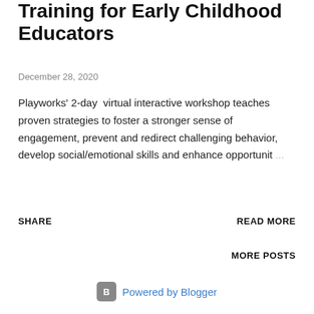Training for Early Childhood Educators
December 28, 2020
Playworks' 2-day virtual interactive workshop teaches proven strategies to foster a stronger sense of engagement, prevent and redirect challenging behavior, develop social/emotional skills and enhance opportunit…
SHARE
READ MORE
MORE POSTS
Powered by Blogger